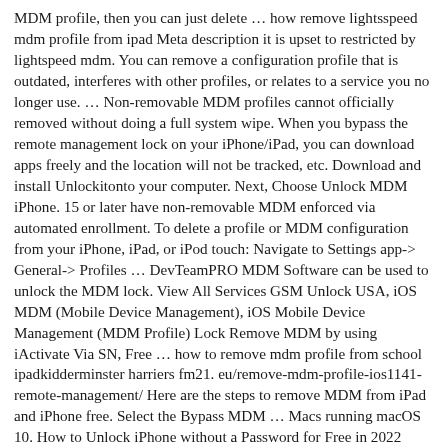MDM profile, then you can just delete … how remove lightsspeed mdm profile from ipad Meta description it is upset to restricted by lightspeed mdm. You can remove a configuration profile that is outdated, interferes with other profiles, or relates to a service you no longer use. … Non-removable MDM profiles cannot officially removed without doing a full system wipe. When you bypass the remote management lock on your iPhone/iPad, you can download apps freely and the location will not be tracked, etc. Download and install Unlockitonto your computer. Next, Choose Unlock MDM iPhone. 15 or later have non-removable MDM enforced via automated enrollment. To delete a profile or MDM configuration from your iPhone, iPad, or iPod touch: Navigate to Settings app-> General-> Profiles … DevTeamPRO MDM Software can be used to unlock the MDM lock. View All Services GSM Unlock USA, iOS MDM (Mobile Device Management), iOS Mobile Device Management (MDM Profile) Lock Remove MDM by using iActivate Via SN, Free … how to remove mdm profile from school ipadkidderminster harriers fm21. eu/remove-mdm-profile-ios1141-remote-management/ Here are the steps to remove MDM from iPad and iPhone free. Select the Bypass MDM … Macs running macOS 10. How to Unlock iPhone without a Password for Free in 2022 [100% Work] 10 Best iPhone/iPad Manager Software to Transfer and Manage iOS Files. free iCloud activation removal tool which is compatible with all iOS … iOS App Bundle Id. Then erase … In this article, we will tell you how to solve free this